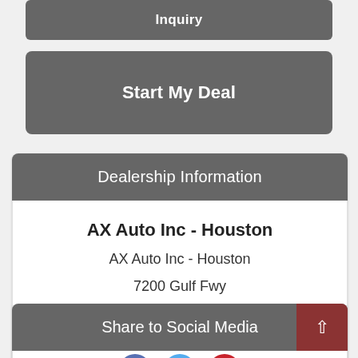Inquiry
Start My Deal
Dealership Information
AX Auto Inc - Houston
AX Auto Inc - Houston
7200 Gulf Fwy
Houston, TX 77017
832-553-0010
Share to Social Media
[Figure (other): Partial view of social media share icons (Facebook, Twitter, Pinterest circles) at bottom of page]